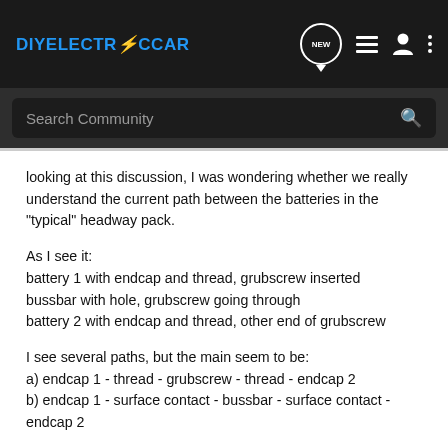DIYELECTRICCAR
looking at this discussion, I was wondering whether we really understand the current path between the batteries in the "typical" headway pack.
As I see it:
battery 1 with endcap and thread, grubscrew inserted
bussbar with hole, grubscrew going through
battery 2 with endcap and thread, other end of grubscrew
I see several paths, but the main seem to be:
a) endcap 1 - thread - grubscrew - thread - endcap 2
b) endcap 1 - surface contact - bussbar - surface contact - endcap 2